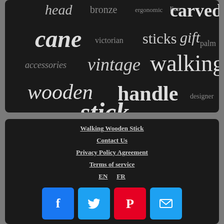[Figure (other): Word cloud on dark background with words: head, bronze, ergonomic, lion, carved, cane, victorian, sticks, gift, palm, accessories, vintage, walking, wooden, handle, designer, stick]
Walking Wooden Stick
Contact Us
Privacy Policy Agreement
Terms of service
EN  FR
[Figure (other): Social media icons: Facebook, Twitter, Pinterest, Email]